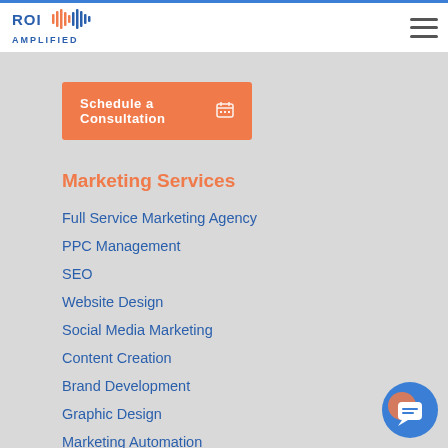[Figure (logo): ROI Amplified logo with soundwave graphic in blue and orange]
Schedule a Consultation
Marketing Services
Full Service Marketing Agency
PPC Management
SEO
Website Design
Social Media Marketing
Content Creation
Brand Development
Graphic Design
Marketing Automation